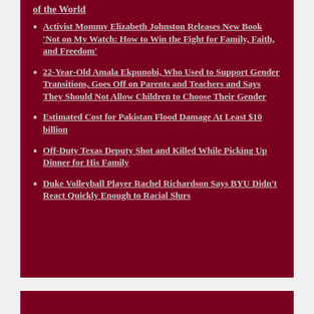of the World
Activist Mommy Elizabeth Johnston Releases New Book 'Not on My Watch: How to Win the Fight for Family, Faith, and Freedom'
22-Year-Old Amala Ekpunobi, Who Used to Support Gender Transitions, Goes Off on Parents and Teachers and Says They Should Not Allow Children to Choose Their Gender
Estimated Cost for Pakistan Flood Damage At Least $10 billion
Off-Duty Texas Deputy Shot and Killed While Picking Up Dinner for His Family
Duke Volleyball Player Rachel Richardson Says BYU Didn't React Quickly Enough to Racial Slurs